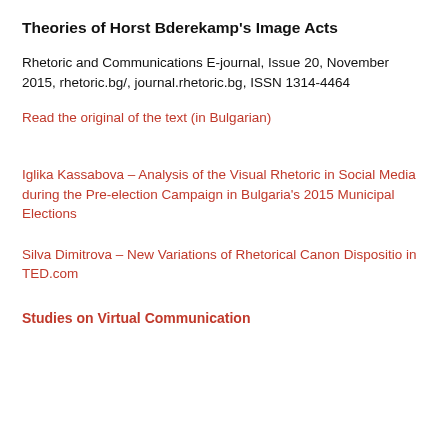Theories of Horst Bderekamp's Image Acts
Rhetoric and Communications E-journal, Issue 20, November 2015, rhetoric.bg/, journal.rhetoric.bg, ISSN 1314-4464
Read the original of the text (in Bulgarian)
Iglika Kassabova – Analysis of the Visual Rhetoric in Social Media during the Pre-election Campaign in Bulgaria's 2015 Municipal Elections
Silva Dimitrova – New Variations of Rhetorical Canon Dispositio in TED.com
Studies on Virtual Communication